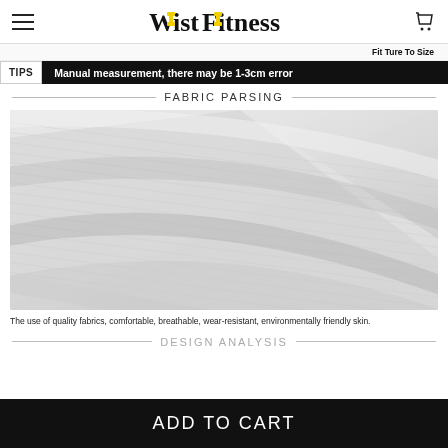Waist Fitness
Fit Ture To Size
TIPS  Manual measurement, there may be 1-3cm error
FABRIC PARSING
[Figure (photo): Close-up of white/light grey ribbed fabric texture showing diagonal folds]
The use of quality fabrics, comfortable, breathable, wear-resistant, environmentally friendly skin.
DESIGN ANALYSIS
ADD TO CART